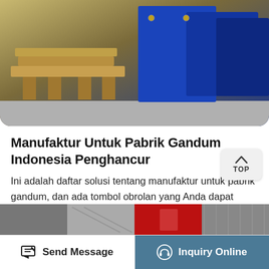[Figure (photo): Photo of industrial wooden pallets and blue metal containers/boxes on a warehouse floor.]
Manufaktur Untuk Pabrik Gandum Indonesia Penghancur
Ini adalah daftar solusi tentang manufaktur untuk pabrik gandum, dan ada tombol obrolan yang Anda dapat menghubungi yang sesuai solusi expert.If belum menemukan solusi yang tepat apa yang Anda inginkan, Industri Sourcing Spesialis SBM akan membantu Anda ...
Read More »
[Figure (photo): Partial thumbnail strip showing industrial machinery images at the bottom of the page.]
Send Message  |  Inquiry Online